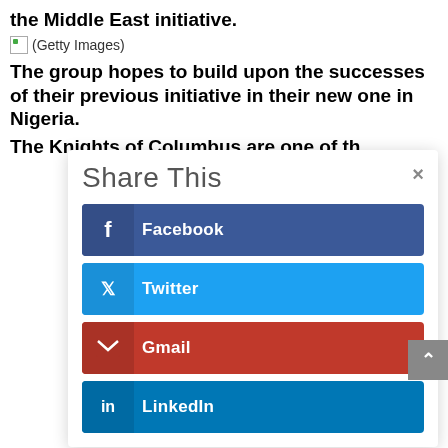the Middle East initiative.
(Getty Images)
The group hopes to build upon the successes of their previous initiative in their new one in Nigeria.
The Knights of Columbus are one of the...
[Figure (infographic): Share This modal overlay with buttons for Facebook, Twitter, Gmail, and LinkedIn social sharing options, with a close (×) button in the top right corner.]